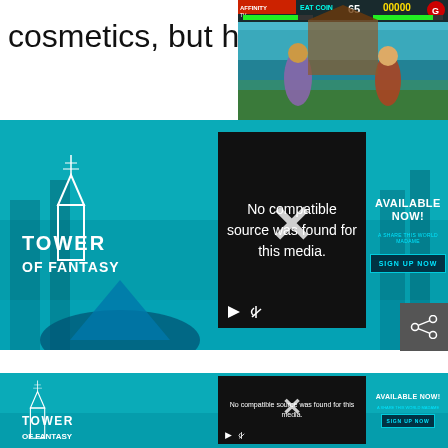cosmetics, but hey, they're
[Figure (screenshot): Game screenshot showing a fighting game UI with HUD elements including player names, health bars, and a teal/green color scheme. Shows 'AFFINITY TV', 'EAT COIN', score '65', and '00000' with a red 'G' icon.]
[Figure (screenshot): Tower of Fantasy advertisement banner with teal background. Left side shows Tower of Fantasy logo with tower icon. Center shows a black video player with 'No compatible source was found for this media.' message and an X overlay. Right side shows 'AVAILABLE NOW!' text and a 'SIGN UP NOW' button.]
[Figure (screenshot): Duplicate Tower of Fantasy advertisement banner, same as above, showing the bottom portion on the page.]